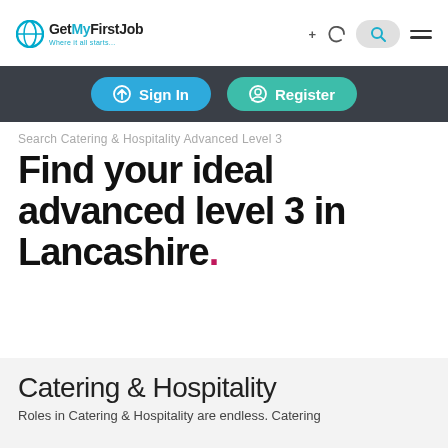GetMyFirstJob — Where it all starts. [Navigation icons: moon/dark mode, search, hamburger menu]
Sign In  Register
Search Catering & Hospitality Advanced Level 3
Find your ideal advanced level 3 in Lancashire.
Catering & Hospitality
Roles in Catering & Hospitality are endless. Catering